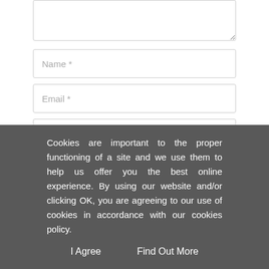[Figure (screenshot): Partial textarea input box at the top of the page]
Name *
Email *
URL
Post Comment
This site uses Akismet to reduce spam. Learn how
Cookies are important to the proper functioning of a site and we use them to help us offer you the best online experience. By using our website and/or clicking OK, you are agreeing to our use of cookies in accordance with our cookies policy.
I Agree
Find Out More